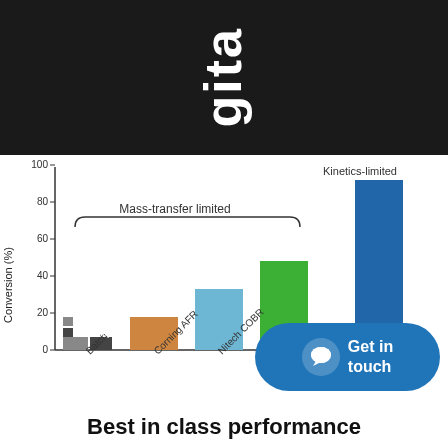gita
[Figure (bar-chart): ]
Best in class performance